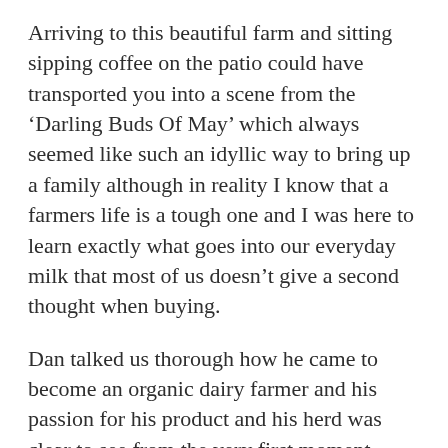Arriving to this beautiful farm and sitting sipping coffee on the patio could have transported you into a scene from the 'Darling Buds Of May' which always seemed like such an idyllic way to bring up a family although in reality I know that a farmers life is a tough one and I was here to learn exactly what goes into our everyday milk that most of us doesn't give a second thought when buying.
Dan talked us thorough how he came to become an organic dairy farmer and his passion for his product and his herd was clear to see from the very first moment. Dan's dairy farm is very much a family